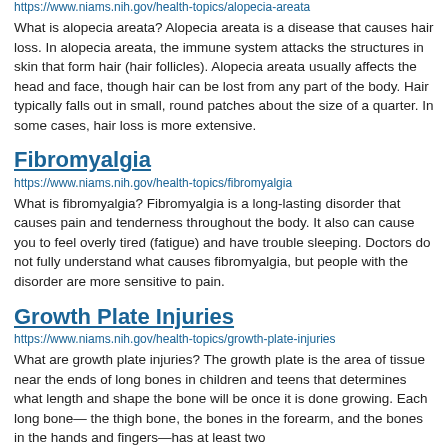https://www.niams.nih.gov/health-topics/alopecia-areata
What is alopecia areata? Alopecia areata is a disease that causes hair loss. In alopecia areata, the immune system attacks the structures in skin that form hair (hair follicles). Alopecia areata usually affects the head and face, though hair can be lost from any part of the body. Hair typically falls out in small, round patches about the size of a quarter. In some cases, hair loss is more extensive.
Fibromyalgia
https://www.niams.nih.gov/health-topics/fibromyalgia
What is fibromyalgia? Fibromyalgia is a long-lasting disorder that causes pain and tenderness throughout the body. It also can cause you to feel overly tired (fatigue) and have trouble sleeping. Doctors do not fully understand what causes fibromyalgia, but people with the disorder are more sensitive to pain.
Growth Plate Injuries
https://www.niams.nih.gov/health-topics/growth-plate-injuries
What are growth plate injuries? The growth plate is the area of tissue near the ends of long bones in children and teens that determines what length and shape the bone will be once it is done growing. Each long bone— the thigh bone, the bones in the forearm, and the bones in the hands and fingers—has at least two